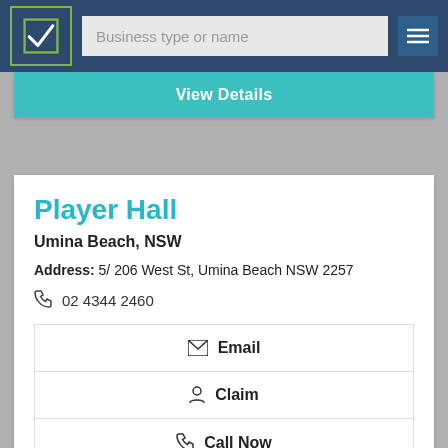Business type or name
View Details
Player Hall
Umina Beach, NSW
Address: 5/ 206 West St, Umina Beach NSW 2257
02 4344 2460
Email
Claim
Call Now
View Details